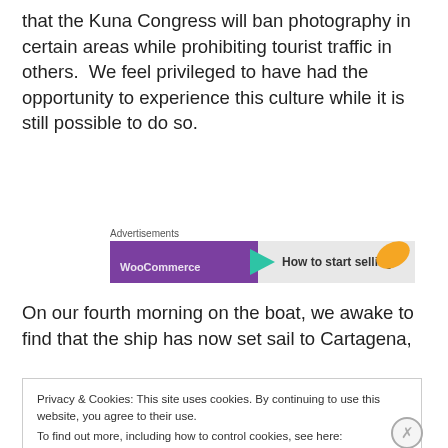that the Kuna Congress will ban photography in certain areas while prohibiting tourist traffic in others.  We feel privileged to have had the opportunity to experience this culture while it is still possible to do so.
[Figure (other): Advertisement banner with purple background, teal arrow, orange leaf shape, and text 'How to start selling']
On our fourth morning on the boat, we awake to find that the ship has now set sail to Cartagena,
Privacy & Cookies: This site uses cookies. By continuing to use this website, you agree to their use.
To find out more, including how to control cookies, see here:
Cookie Policy
Close and accept